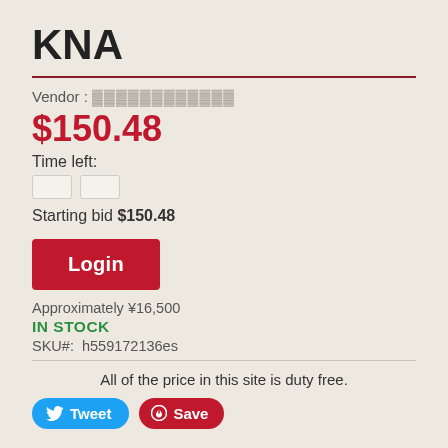KNA
Vendor : ▓▓▓▓▓▓▓▓▓▓▓▓
$150.48
Time left:
Starting bid $150.48
Login
Approximately ¥16,500
IN STOCK
SKU#:  h559172136es
All of the price in this site is duty free.
Tweet
Save